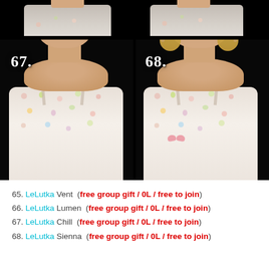[Figure (photo): Two 3D virtual avatar women wearing floral spaghetti-strap dresses. Left avatar wears a black knit beanie hat with short blonde hair visible, labeled '67.' Right avatar has long straight blonde hair, labeled '68.' Both shown against black background. Top of image shows partial views of the same or similar avatars from a previous set.]
65. LeLutka Vent  (free group gift / 0L / free to join)
66. LeLutka Lumen  (free group gift / 0L / free to join)
67. LeLutka Chill  (free group gift / 0L / free to join)
68. LeLutka Sienna  (free group gift / 0L / free to join)